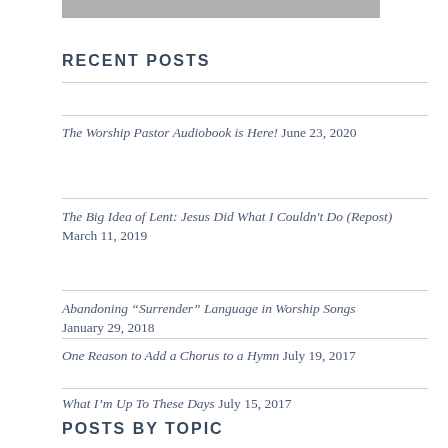[Figure (photo): Top image strip, gray/photo header]
RECENT POSTS
The Worship Pastor Audiobook is Here! June 23, 2020
The Big Idea of Lent: Jesus Did What I Couldn't Do (Repost) March 11, 2019
Abandoning “Surrender” Language in Worship Songs January 29, 2018
One Reason to Add a Chorus to a Hymn July 19, 2017
What I’m Up To These Days July 15, 2017
POSTS BY TOPIC